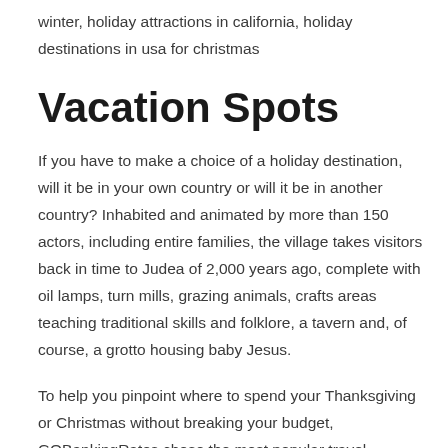winter, holiday attractions in california, holiday destinations in usa for christmas
Vacation Spots
If you have to make a choice of a holiday destination, will it be in your own country or will it be in another country? Inhabited and animated by more than 150 actors, including entire families, the village takes visitors back in time to Judea of 2,000 years ago, complete with oil lamps, turn mills, grazing animals, crafts areas teaching traditional skills and folklore, a tavern and, of course, a grotto housing baby Jesus.
To help you pinpoint where to spend your Thanksgiving or Christmas without breaking your budget, GOBankingRates chose the most popular travel